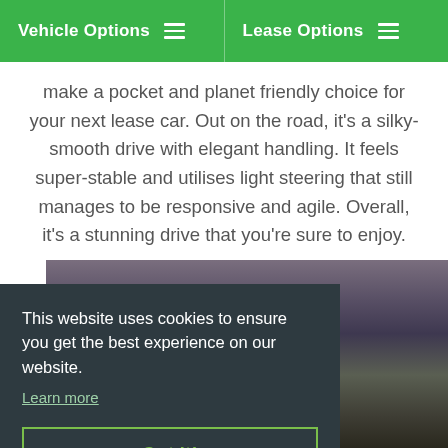Vehicle Options | Lease Options
make a pocket and planet friendly choice for your next lease car. Out on the road, it's a silky-smooth drive with elegant handling. It feels super-stable and utilises light steering that still manages to be responsive and agile. Overall, it's a stunning drive that you're sure to enjoy.
[Figure (photo): Nighttime road photograph with dark sky and distant hills, partially obscured by a cookie consent overlay]
This website uses cookies to ensure you get the best experience on our website.
Learn more
Got it!